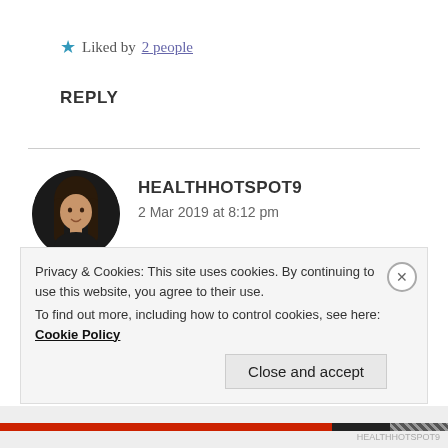Liked by 2 people
REPLY
[Figure (photo): Circular avatar photo of a young woman with long dark hair, smiling, dark background]
HEALTHHOTSPOT9
2 Mar 2019 at 8:12 pm
It's wonderful to experience the passion of someone who is bringing awareness to health and disease. Thank you for sharing your knowledge! 🙂
Privacy & Cookies: This site uses cookies. By continuing to use this website, you agree to their use. To find out more, including how to control cookies, see here: Cookie Policy
Close and accept